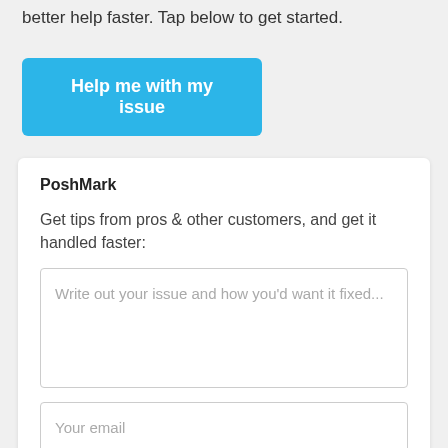better help faster. Tap below to get started.
[Figure (other): Blue button labeled 'Help me with my issue']
PoshMark
Get tips from pros & other customers, and get it handled faster:
Write out your issue and how you'd want it fixed...
Your email